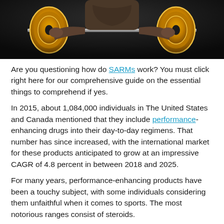[Figure (photo): A muscular man lifting a heavy barbell with large gold/yellow weight plates in a dark gym setting, shirtless, seen from chest down]
Are you questioning how do SARMs work? You must click right here for our comprehensive guide on the essential things to comprehend if yes.
In 2015, about 1,084,000 individuals in The United States and Canada mentioned that they include performance-enhancing drugs into their day-to-day regimens. That number has since increased, with the international market for these products anticipated to grow at an impressive CAGR of 4.8 percent in between 2018 and 2025.
For many years, performance-enhancing products have been a touchy subject, with some individuals considering them unfaithful when it comes to sports. The most notorious ranges consist of steroids.